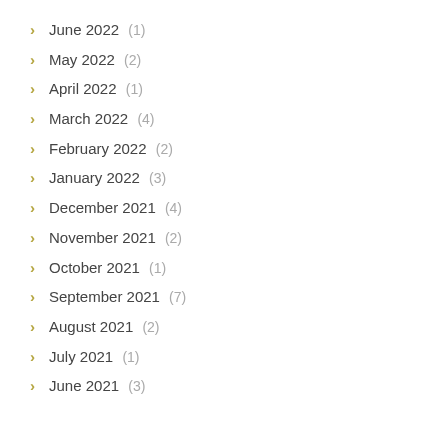June 2022 (1)
May 2022 (2)
April 2022 (1)
March 2022 (4)
February 2022 (2)
January 2022 (3)
December 2021 (4)
November 2021 (2)
October 2021 (1)
September 2021 (7)
August 2021 (2)
July 2021 (1)
June 2021 (3)